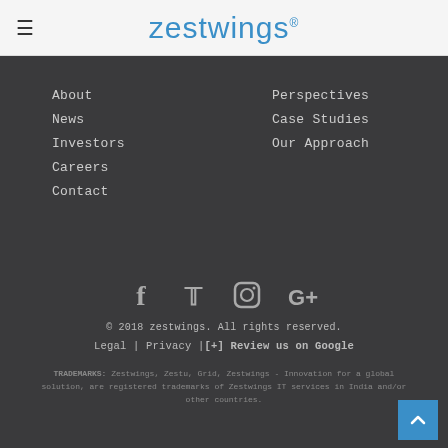zestwings®
About
News
Investors
Careers
Contact
Perspectives
Case Studies
Our Approach
[Figure (infographic): Social media icons: Facebook, Twitter, Instagram, Google+]
© 2018 zestwings. All rights reserved.
Legal | Privacy | [+] Review us on Google
TRADEMARKS: Zestwings, Zestu, Grid, Zestwings - Innovation for a global solution, are registered trademarks of Zestwings IT services in India and/or other countries.